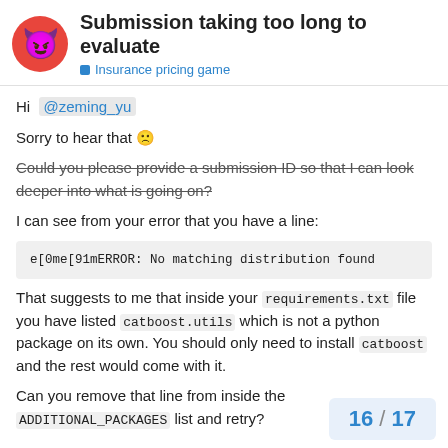Submission taking too long to evaluate — Insurance pricing game
Hi @zeming_yu
Sorry to hear that 🙁
Could you please provide a submission ID so that I can look deeper into what is going on?
I can see from your error that you have a line:
e[0me[91mERROR: No matching distribution found
That suggests to me that inside your requirements.txt file you have listed catboost.utils which is not a python package on its own. You should only need to install catboost and the rest would come with it.
Can you remove that line from inside the ADDITIONAL_PACKAGES list and retry?
16 / 17